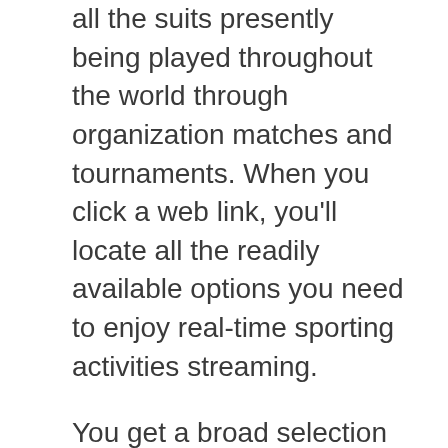all the suits presently being played throughout the world through organization matches and tournaments. When you click a web link, you'll locate all the readily available options you need to enjoy real-time sporting activities streaming.
You get a broad selection of sporting action including football, boxing, basketball, tennis, ice hockey and rugby, snooker, auto racing, baseball, & more. You can enjoy all preferred organizations, tournaments, and Olympics matches reside on Feed2All and get to live television totally complimentary too. Additionally, look Jokerlivestream options.
11. StrikeOut
If you're a follower of Premier Organization and